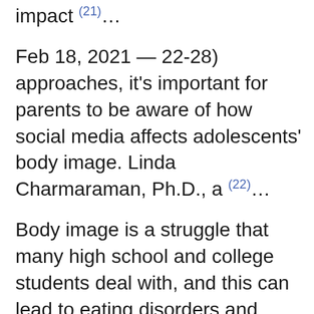impact (21)…
Feb 18, 2021 — 22-28) approaches, it's important for parents to be aware of how social media affects adolescents' body image. Linda Charmaraman, Ph.D., a (22)…
Body image is a struggle that many high school and college students deal with, and this can lead to eating disorders and unhealthy dieting behaviors. Constant (23)…
8. Self-Esteem and Media